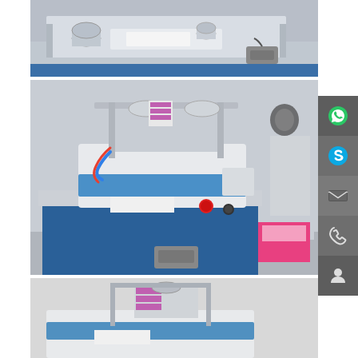[Figure (photo): Industrial label printing/stamping machine on a blue metal table, close-up view showing rollers and a foot pedal controller, in a workshop setting. Silver/stainless steel machine on blue cabinet.]
[Figure (photo): Full view of an industrial label printing machine with colorful label rolls (pink/purple labels visible), blue rollers, white body, red emergency stop button, control panel, and foot pedal. Another machine visible in background. Blue metal table base.]
[Figure (photo): Partial view of a similar label printing machine from a different angle, showing label rolls and machine components against a light gray background.]